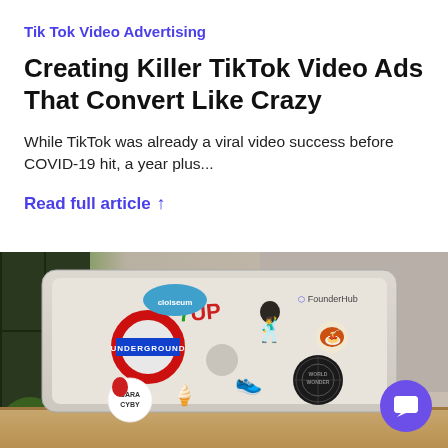Tik Tok Video Advertising
Creating Killer TikTok Video Ads That Convert Like Crazy
While TikTok was already a viral video success before COVID-19 hit, a year plus...
Read full article ↑
[Figure (photo): Laptop computer covered with various stickers including 7UP, London Underground, FounderHub, Cara Cyby, and other brand stickers, placed on a desk with a plant in the background.]